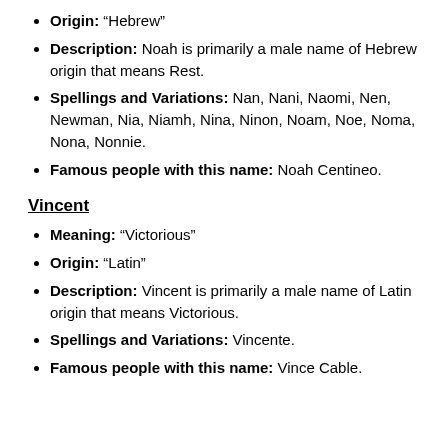Origin: “Hebrew”
Description: Noah is primarily a male name of Hebrew origin that means Rest.
Spellings and Variations: Nan, Nani, Naomi, Nen, Newman, Nia, Niamh, Nina, Ninon, Noam, Noe, Noma, Nona, Nonnie.
Famous people with this name: Noah Centineo.
Vincent
Meaning: “Victorious”
Origin: “Latin”
Description: Vincent is primarily a male name of Latin origin that means Victorious.
Spellings and Variations: Vincente.
Famous people with this name: Vince Cable.